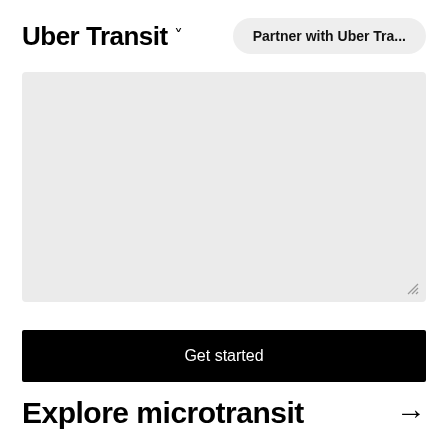Uber Transit ˅
Partner with Uber Tra...
[Figure (other): Light gray rectangular placeholder image area with a resize handle in the bottom-right corner]
Get started
Explore microtransit →